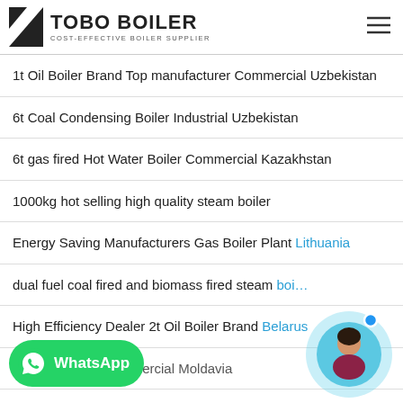TOBO BOILER - COST-EFFECTIVE BOILER SUPPLIER
1t Oil Boiler Brand Top manufacturer Commercial Uzbekistan
6t Coal Condensing Boiler Industrial Uzbekistan
6t gas fired Hot Water Boiler Commercial Kazakhstan
1000kg hot selling high quality steam boiler
Energy Saving Manufacturers Gas Boiler Plant Lithuania
dual fuel coal fired and biomass fired steam boiler
High Efficiency Dealer 2t Oil Boiler Brand Belarus
...ly Automatic Commercial Moldavia
[Figure (logo): WhatsApp contact button with green background and WhatsApp icon]
[Figure (illustration): Chat support avatar showing a woman with blue circular background and online indicator dot]